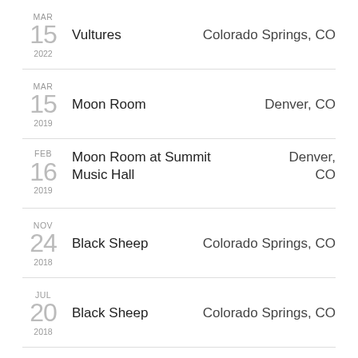MAR 15 2022 | Vultures | Colorado Springs, CO
MAR 15 2019 | Moon Room | Denver, CO
FEB 16 2019 | Moon Room at Summit Music Hall | Denver, CO
NOV 24 2018 | Black Sheep | Colorado Springs, CO
JUL 20 2018 | Black Sheep | Colorado Springs, CO
FEB 08 2017 | the Zodiac | Colorado Springs, CO